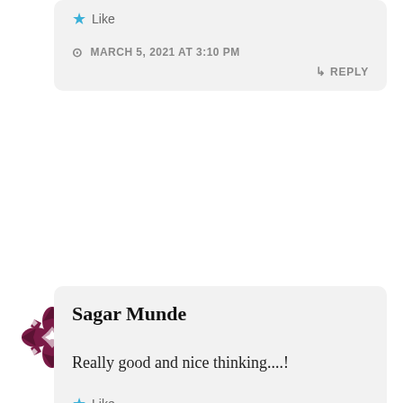[Figure (other): Star/Like icon with Like text - top card]
MARCH 5, 2021 AT 3:10 PM
↳ REPLY
[Figure (logo): Purple geometric snowflake/flower avatar for Sagar Munde]
Sagar Munde
Really good and nice thinking....!
Like
MARCH 5, 2021 AT 2:55 PM
↳ REPLY